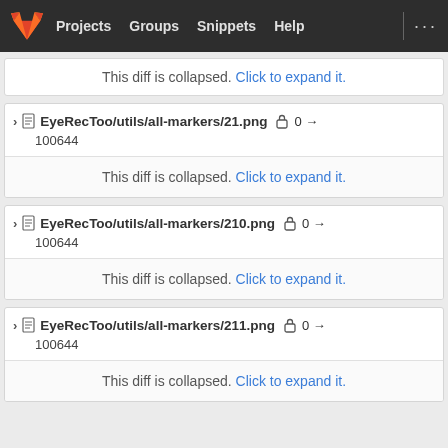Projects  Groups  Snippets  Help
This diff is collapsed. Click to expand it.
EyeRecToo/utils/all-markers/21.png  0 → 100644
This diff is collapsed. Click to expand it.
EyeRecToo/utils/all-markers/210.png  0 → 100644
This diff is collapsed. Click to expand it.
EyeRecToo/utils/all-markers/211.png  0 → 100644
This diff is collapsed. Click to expand it.